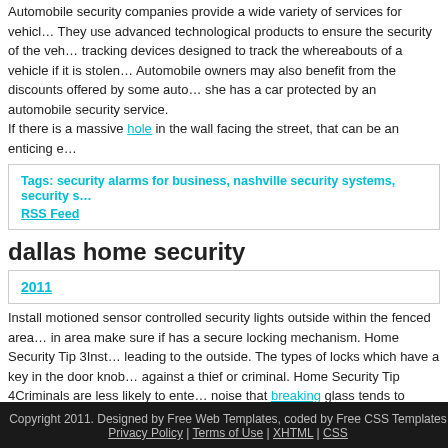Automobile security companies provide a wide variety of services for vehicles. They use advanced technological products to ensure the security of the vehicle, tracking devices designed to track the whereabouts of a vehicle if it is stolen. Automobile owners may also benefit from the discounts offered by some auto if she has a car protected by an automobile security service. If there is a massive hole in the wall facing the street, that can be an enticing e
Tags: security alarms for business, nashville security systems, security s
RSS Feed
dallas home security
2011
Install motioned sensor controlled security lights outside within the fenced area in area make sure if has a secure locking mechanism. Home Security Tip 3Inst leading to the outside. The types of locks which have a key in the door knob against a thief or criminal. Home Security Tip 4Criminals are less likely to ente noise that breaking glass tends to make. Nevertheless, keep all windows locke
RSS Feed  Tags: alarm installers, security systems alarm, fire alarm system fo
Copyright 2011. Designed by Free Web Templates, coded by Free CSS Templates Privacy Policy | Terms of Use | XHTML | CSS